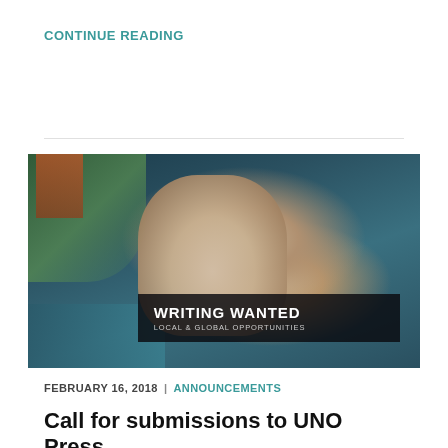CONTINUE READING
[Figure (photo): Person holding up a hand toward the camera with fingers spread, obscuring their face. Text overlay reads 'WRITING WANTED — LOCAL & GLOBAL OPPORTUNITIES' on a dark band.]
FEBRUARY 16, 2018  |  ANNOUNCEMENTS
Call for submissions to UNO Press